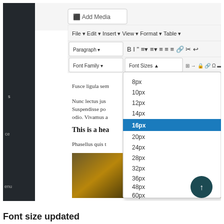[Figure (screenshot): Screenshot of a WordPress/TinyMCE editor showing a font size dropdown menu open, with options: 8px, 10px, 12px, 14px, 16px (highlighted in blue), 20px, 24px, 28px, 32px, 36px, 48px, 60px. The editor toolbar shows File, Edit, Insert, View, Format, Table menus, and formatting buttons. Below the editor is a back-to-top button and partial body text.]
Font size updated